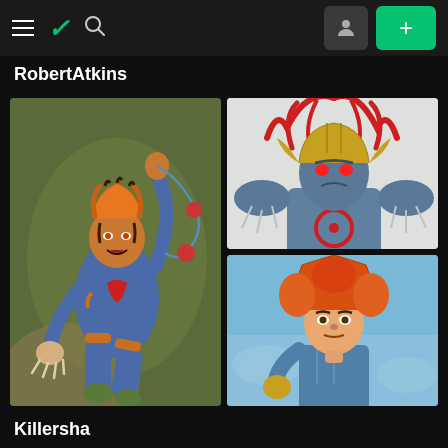DeviantArt navigation bar with hamburger menu, logo, search, user icon, and add button
RobertAtkins
[Figure (illustration): Large comic book illustration of a blue-suited tiger humanoid character (Tygra) with orange tiger-striped hair and fur accents, wielding a bolo whip with red balls, crouching in an action pose against a green and brown painted background.]
[Figure (illustration): Comic book illustration of a large armored villain (Mumm-Ra) wearing a golden horned helmet with glowing red eyes and a red circular symbol on chest, raising clawed hands, with red flame-like tentacles behind, against a white background.]
[Figure (illustration): Comic book illustration of Lion-O from ThunderCats, a muscular figure with wild orange/red hair, wearing blue and gray armor, holding the Sword of Omens, against a blue sky background.]
Killersha